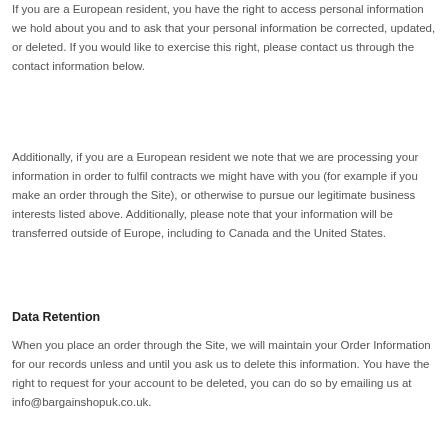If you are a European resident, you have the right to access personal information we hold about you and to ask that your personal information be corrected, updated, or deleted. If you would like to exercise this right, please contact us through the contact information below.
Additionally, if you are a European resident we note that we are processing your information in order to fulfil contracts we might have with you (for example if you make an order through the Site), or otherwise to pursue our legitimate business interests listed above. Additionally, please note that your information will be transferred outside of Europe, including to Canada and the United States.
Data Retention
When you place an order through the Site, we will maintain your Order Information for our records unless and until you ask us to delete this information. You have the right to request for your account to be deleted, you can do so by emailing us at info@bargainshopuk.co.uk.